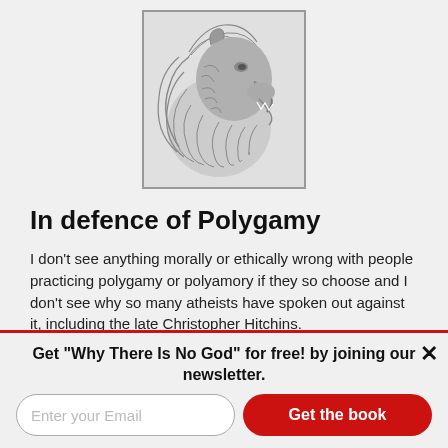[Figure (illustration): Roaring lion head in profile, drawn in gray linework style, inside a rectangular border on a gray background. Used as a logo/masthead image.]
In defence of Polygamy
I don't see anything morally or ethically wrong with people practicing polygamy or polyamory if they so choose and I don't see why so many atheists have spoken out against it, including the late Christopher Hitchins.
Atheists who hold strong perspectives against polygamy are like the atheists who argue in favor of there being a spirit or free will behind every person, they are atheists
Get "Why There Is No God" for free! by joining our newsletter.